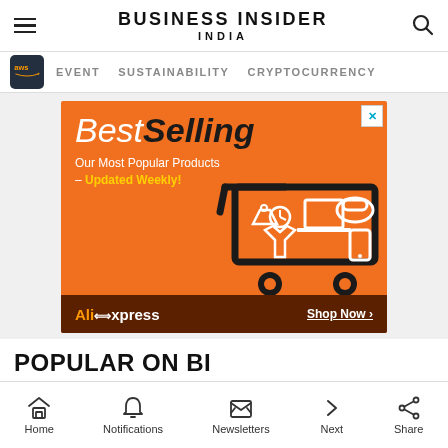BUSINESS INSIDER INDIA
EVENT   SUSTAINABILITY   CRYPTOCURRENCY
[Figure (screenshot): AliExpress BestSelling advertisement banner on orange background with shopping cart illustration. Text reads: BestSelling - Our Most Popular Products - Updated Weekly! Shop Now. AliExpress logo at bottom.]
POPULAR ON BI
Home  Notifications  Newsletters  Next  Share